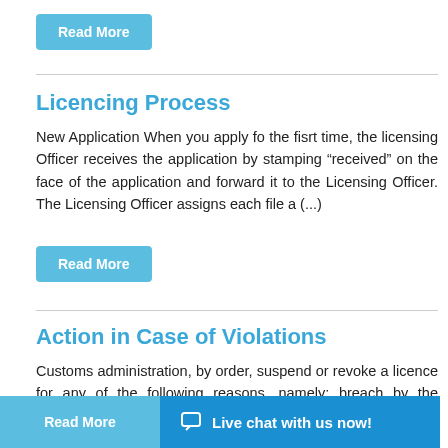Read More
Licencing Process
New Application When you apply fo the fisrt time, the licensing Officer receives the application by stamping “received” on the face of the application and forward it to the Licensing Officer. The Licensing Officer assigns each file a (…)
Read More
Action in Case of Violations
Customs administration, by order, suspend or revoke a licence for any of the following reasons, namely: breach by the licensee of any provision of this procedure manual; negligence, dilatoriness or inefficiency of the licensee in (…)
Read More
Live chat with us now!